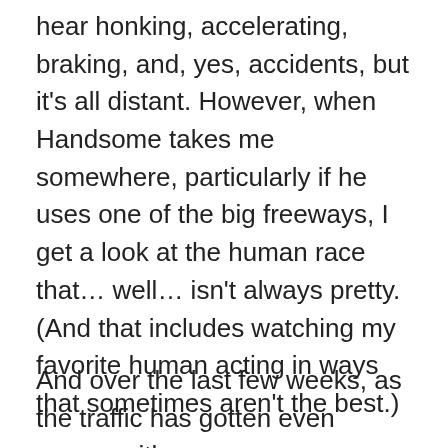hear honking, accelerating, braking, and, yes, accidents, but it's all distant. However, when Handsome takes me somewhere, particularly if he uses one of the big freeways, I get a look at the human race that… well… isn't always pretty.  (And that includes watching my favorite human acting in ways that sometimes aren't the best.)
And over the last few weeks, as the traffic has gotten even worse, with